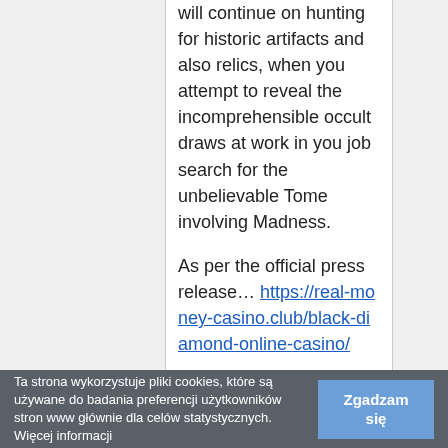will continue on hunting for historic artifacts and also relics, when you attempt to reveal the incomprehensible occult draws at work in you job search for the unbelievable Tome involving Madness.

As per the official press release… https://real-money-casino.club/black-diamond-online-casino/

The very Lovecraftian vacation is introduced as a 9-payline, 5× some cascading power slot,
Ta strona wykorzystuje pliki cookies, które są używane do badania preferencji użytkowników stron www głównie dla celów statystycznych. Więcej informacji